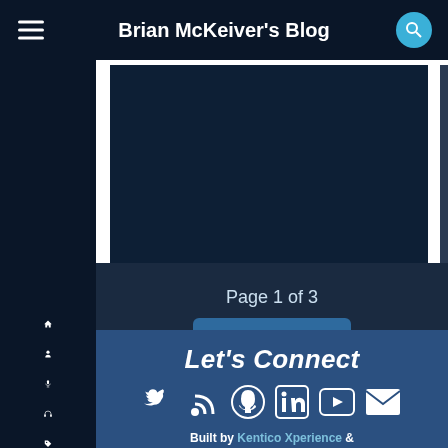Brian McKeiver's Blog
Page 1 of 3
Next
Let's Connect
[Figure (infographic): Social media icons: Twitter, RSS, GitHub, LinkedIn, YouTube, Email]
Built by Kentico Xperience & BizStream